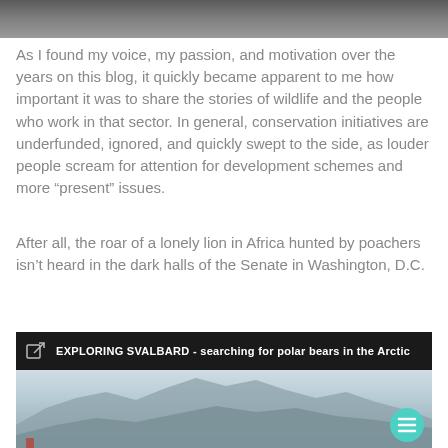[Figure (photo): Partial top edge of a photo, appears to show animal fur or dark natural texture]
As I found my voice, my passion, and motivation over the years on this blog, it quickly became apparent to me how important it was to share the stories of wildlife and the people who work in that sector. In general, conservation initiatives are underfunded, ignored, and quickly swept to the side, as louder people scream for attention for development schemes and more “present” issues.
After all, the roar of a lonely lion in Africa hunted by poachers isn’t heard in the dark halls of the Senate in Washington, D.C.
[Figure (screenshot): A dark-themed card/link preview with title 'EXPLORING SVALBARD - searching for polar bears in the Arctic' and a landscape photo showing snowy mountains with misty sky, with a teal circular menu button in the bottom right]